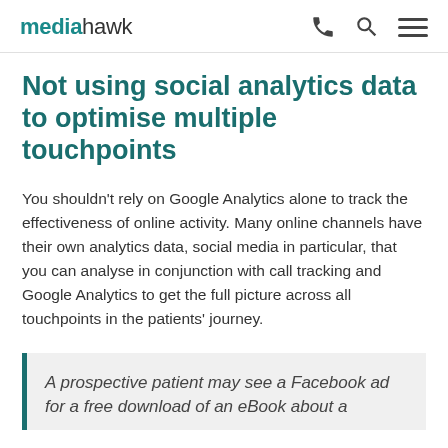mediahawk
Not using social analytics data to optimise multiple touchpoints
You shouldn't rely on Google Analytics alone to track the effectiveness of online activity. Many online channels have their own analytics data, social media in particular, that you can analyse in conjunction with call tracking and Google Analytics to get the full picture across all touchpoints in the patients' journey.
A prospective patient may see a Facebook ad for a free download of an eBook about a